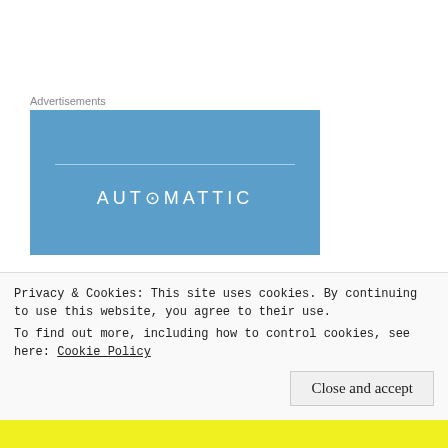[Figure (logo): Automattic advertisement banner — blue rectangle with horizontal line and AUTOMATTIC text in white spaced letters]
If winning over rural voters was a simple as talking to a few rural voters here and there, we'd still have Pat Quinn as governor here in Illinois. Obviously, that's not the case. For Democrats to win over rural voters across
Privacy & Cookies: This site uses cookies. By continuing to use this website, you agree to their use.
To find out more, including how to control cookies, see here: Cookie Policy
Close and accept